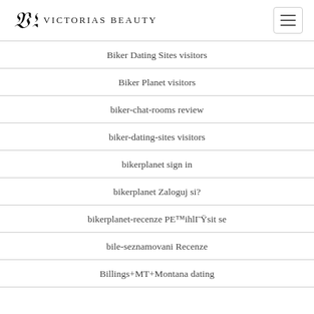Victorias Beauty
Biker Dating Sites visitors
Biker Planet visitors
biker-chat-rooms review
biker-dating-sites visitors
bikerplanet sign in
bikerplanet Zaloguj si?
bikerplanet-recenze PE™ihlГŸsit se
bile-seznamovani Recenze
Billings+MT+Montana dating